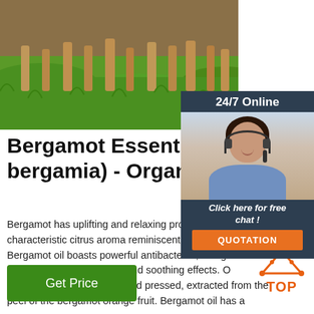[Figure (photo): Photo of cattle/animals standing in green grass, showing legs and lower body.]
[Figure (infographic): 24/7 Online chat widget with a female customer service agent wearing a headset, smiling; includes 'Click here for free chat!' text and an orange QUOTATION button.]
Bergamot Essential Oil (Citr bergamia) - Organic - Vivi ..
Bergamot has uplifting and relaxing properties and a characteristic citrus aroma reminiscent of earl grey tea. Bergamot oil boasts powerful antibacterial, analgesic, antiseptic, antispasmodic, and soothing effects. Our Bergamot Essential Oil is cold pressed, extracted from the peel of the bergamot orange fruit. Bergamot oil has a
[Figure (logo): Orange and red TOP logo with triangle/mountain icon above the text TOP.]
Get Price